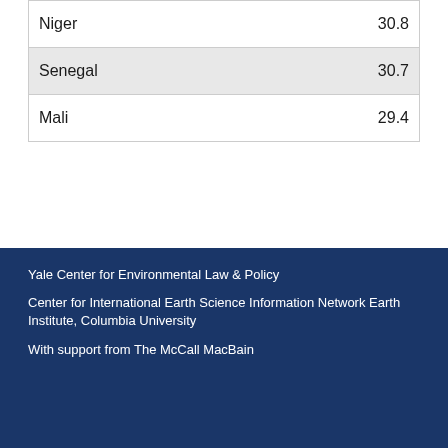| Niger | 30.8 |
| Senegal | 30.7 |
| Mali | 29.4 |
Yale Center for Environmental Law & Policy
Center for International Earth Science Information Network Earth Institute, Columbia University
With support from The McCall MacBain